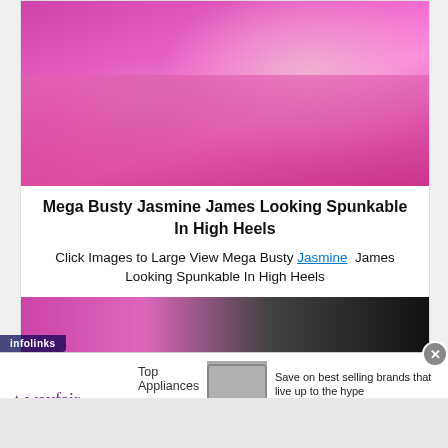[Figure (photo): Woman posing on pink bed with high heels and tattoos, purple/pink background lighting]
Mega Busty Jasmine James Looking Spunkable In High Heels
Click Images to Large View Mega Busty Jasmine James Looking Spunkable In High Heels
[Figure (photo): Second photo partially visible, dark and pink background]
[Figure (screenshot): Wayfair advertisement: Top Appliances Low Prices, Save on best selling brands that live up to the hype, Shop now button. Infolinks badge visible.]